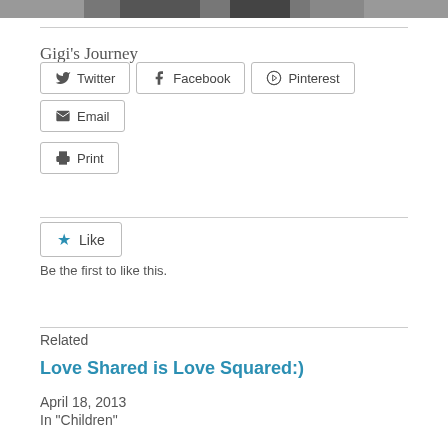[Figure (photo): Partial view of a photograph showing people, cropped at top of page]
Gigi's Journey
Twitter  Facebook  Pinterest  Email  Print
Like
Be the first to like this.
Related
Love Shared is Love Squared:)
April 18, 2013
In "Children"